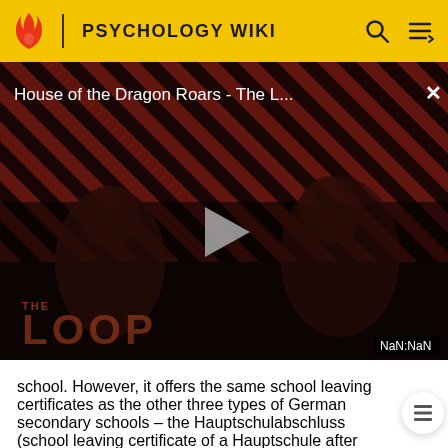PSYCHOLOGY WIKI
[Figure (screenshot): Video player overlay showing 'House of the Dragon Roars - The L...' with a play button, diagonal red and black stripes background, 'THE LOOP' text watermark, and NaN:NaN time display. Two silhouetted figures are visible.]
school. However, it offers the same school leaving certificates as the other three types of German secondary schools – the Hauptschulabschluss (school leaving certificate of a Hauptschule after 9th Grade or in Berlin and North Rhine-Westphalia after 10th Grade), the